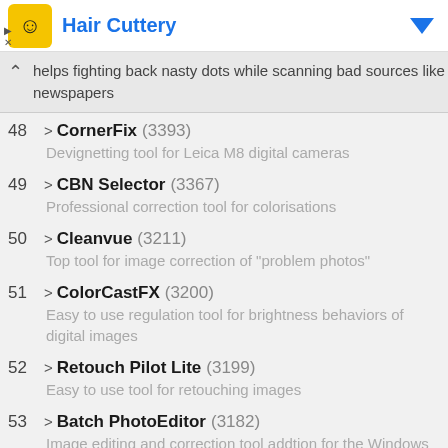[Figure (screenshot): Hair Cuttery advertisement banner with logo, title in blue, and navigation arrows]
helps fighting back nasty dots while scanning bad sources like newspapers
48 > CornerFix (3393) - Devignetting tool for Leica M8 digital cameras
49 > CBN Selector (3367) - Professional correction tool for colorisations
50 > Cleanvue (3211) - Top tool for image correction of "problem photos"
51 > ColorCastFX (3200) - Easy to use regulation tool for brightness behaviors of digital images
52 > Retouch Pilot Lite (3199) - Easy to use tool for retouching images
53 > Batch PhotoEditor (3182) - Image editing and correction tool addtion for the Windows File Explorer
54 > ImageScaler (3179)